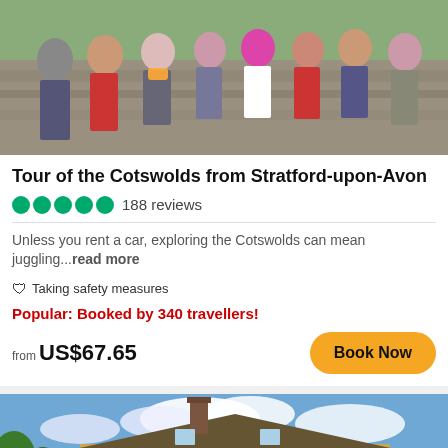[Figure (photo): Group of tourists posing outdoors near a stone wall in the Cotswolds, colorful clothing]
Tour of the Cotswolds from Stratford-upon-Avon
●●●●● 188 reviews
Unless you rent a car, exploring the Cotswolds can mean juggling...read more
🛡 Taking safety measures
Popular: Booked by 340 travellers!
from US$67.65
[Figure (photo): Picturesque Cotswolds stone cottage with green garden under blue sky with clouds]